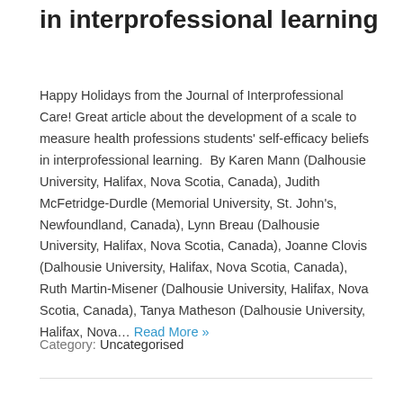in interprofessional learning
Happy Holidays from the Journal of Interprofessional Care! Great article about the development of a scale to measure health professions students' self-efficacy beliefs in interprofessional learning.  By Karen Mann (Dalhousie University, Halifax, Nova Scotia, Canada), Judith McFetridge-Durdle (Memorial University, St. John's, Newfoundland, Canada), Lynn Breau (Dalhousie University, Halifax, Nova Scotia, Canada), Joanne Clovis (Dalhousie University, Halifax, Nova Scotia, Canada), Ruth Martin-Misener (Dalhousie University, Halifax, Nova Scotia, Canada), Tanya Matheson (Dalhousie University, Halifax, Nova… Read More »
Category: Uncategorised